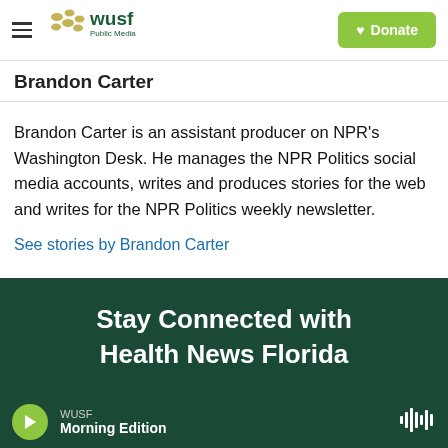WUSF Public Media — Donate
Brandon Carter
Brandon Carter is an assistant producer on NPR's Washington Desk. He manages the NPR Politics social media accounts, writes and produces stories for the web and writes for the NPR Politics weekly newsletter.
See stories by Brandon Carter
Stay Connected with Health News Florida
WUSF Morning Edition